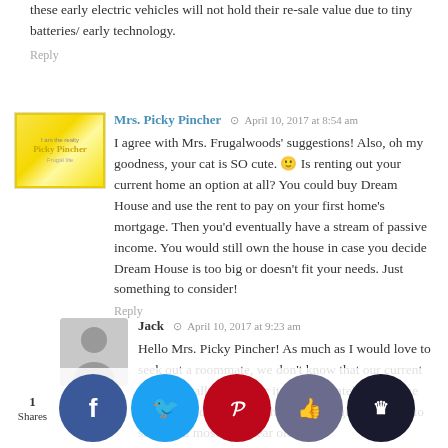these early electric vehicles will not hold their re-sale value due to tiny batteries/ early technology.
Reply
Mrs. Picky Pincher   April 10, 2017 at 8:54 am
I agree with Mrs. Frugalwoods' suggestions! Also, oh my goodness, your cat is SO cute. 🙂 Is renting out your current home an option at all? You could buy Dream House and use the rent to pay on your first home's mortgage. Then you'd eventually have a stream of passive income. You would still own the house in case you decide Dream House is too big or doesn't fit your needs. Just something to consider!
Reply
Jack   April 10, 2017 at 9:23 am
Hello Mrs. Picky Pincher! As much as I would love to seek out a roommate, we don't know that our current home is really set up for it. Unfortunately, given the current condition of our home – a single bathroom to share and mostly 61 year old
1
Shares